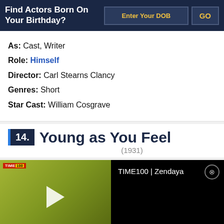Find Actors Born On Your Birthday?
As: Cast, Writer
Role: Himself
Director: Carl Stearns Clancy
Genres: Short
Star Cast: William Cosgrave
14. Young as You Feel (1931)
[Figure (screenshot): Video player showing TIME100 | Zendaya with thumbnail of woman against yellow-green background and play button overlay]